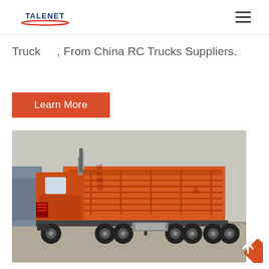TALENET
Truck..., From China RC Trucks Suppliers.
Learn More
[Figure (photo): Orange dump truck / tipper truck parked in a lot, side view, with Chinese characters on the body. Several other trucks visible in the background.]
[Figure (other): Orange diamond-shaped back-to-top button with upward chevron arrow]